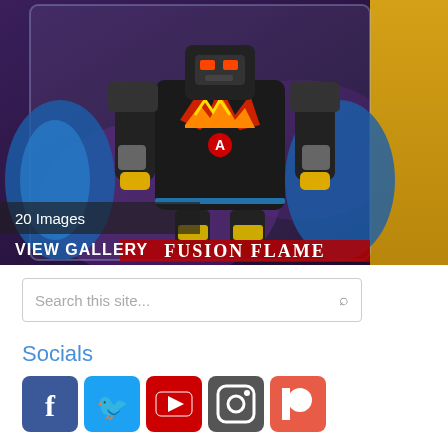[Figure (photo): Transformers Robots in Disguise action figure toy in packaging - black robot with red and yellow flame design (Fusion Flame) inside clear plastic box with purple and yellow Transformers branding. Text overlay showing '20 Images' and 'VIEW GALLERY'.]
20 Images
VIEW GALLERY
Search this site...
Socials
[Figure (infographic): Social media icons row: Facebook (blue), Twitter (light blue), YouTube (red), Instagram (gradient camera), Patreon (red-orange)]
Sponsors